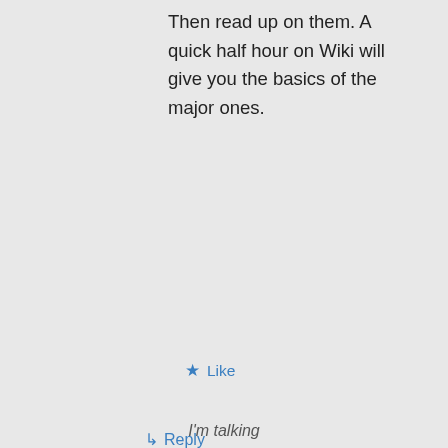Then read up on them. A quick half hour on Wiki will give you the basics of the major ones.
★ Like
↳ Reply
violetwisp on
Privacy & Cookies: This site uses cookies. By continuing to use this website, you agree to their use.
To find out more, including how to control cookies, see here: Cookie Policy
Close and accept
I'm talking